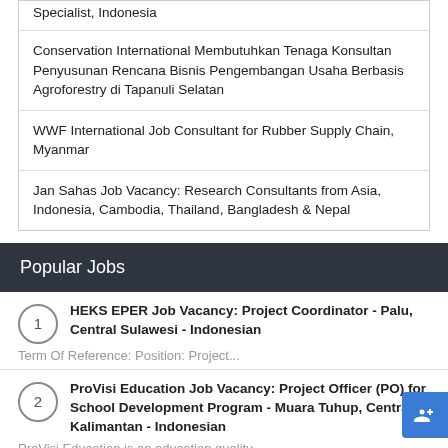Specialist, Indonesia
Conservation International Membutuhkan Tenaga Konsultan Penyusunan Rencana Bisnis Pengembangan Usaha Berbasis Agroforestry di Tapanuli Selatan
WWF International Job Consultant for Rubber Supply Chain, Myanmar
Jan Sahas Job Vacancy: Research Consultants from Asia, Indonesia, Cambodia, Thailand, Bangladesh & Nepal
Popular Jobs
1 HEKS EPER Job Vacancy: Project Coordinator - Palu, Central Sulawesi - Indonesian
Term Of Reference: Position: Project...
2 ProVisi Education Job Vacancy: Project Officer (PO) for School Development Program - Muara Tuhup, Central Kalimantan - Indonesian
ProVisi Education is an education quality...
3 Econusa Foundation Job Vacancy: